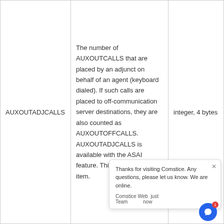| Name | Description | Type |
| --- | --- | --- |
| AUXOUTADJCALLS | The number of AUXOUTCALLS that are placed by an adjunct on behalf of an agent (keyboard dialed). If such calls are placed to off-communication server destinations, they are also counted as AUXOUTOFFCALLS. AUXOUTADJCALLS is available with the ASAI feature. This is a cumulative item. | integer, 4 bytes |